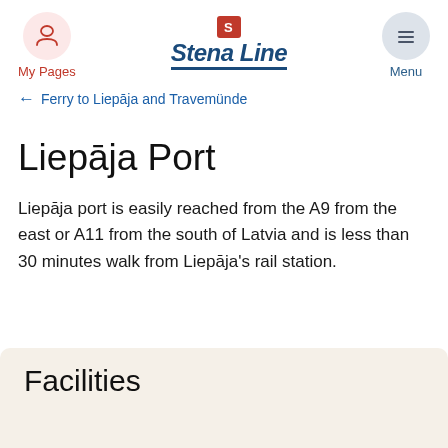My Pages | Stena Line | Menu
← Ferry to Liepāja and Travemünde
Liepāja Port
Liepāja port is easily reached from the A9 from the east or A11 from the south of Latvia and is less than 30 minutes walk from Liepāja's rail station.
Facilities